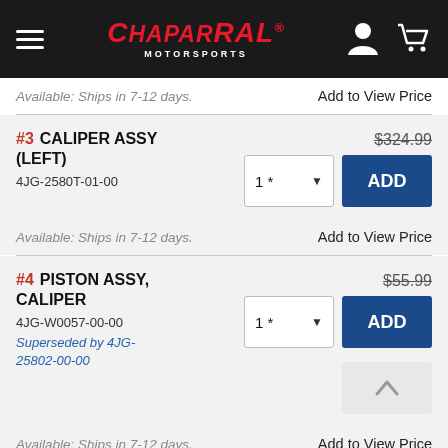Chaparral Motorsports
Available: Ships in 7-12 days.    Add to View Price
#3 CALIPER ASSY (LEFT) $324.99 4JG-2580T-01-00 — Available: Ships in 7-12 days. Add to View Price
#4 PISTON ASSY, CALIPER $55.99 4JG-W0057-00-00 Superseded by 4JG-25802-00-00 — Available: Ships in 7-12 days. Add to View Price